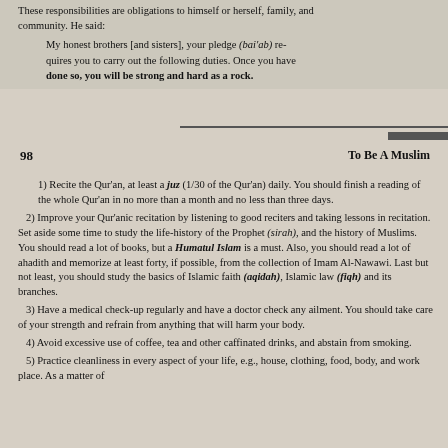These responsibilities are obligations to himself or herself, family, and community. He said:
My honest brothers [and sisters], your pledge (bai'ab) requires you to carry out the following duties. Once you have done so, you will be strong and hard as a rock.
98
To Be A Muslim
1) Recite the Qur'an, at least a juz (1/30 of the Qur'an) daily. You should finish a reading of the whole Qur'an in no more than a month and no less than three days.
2) Improve your Qur'anic recitation by listening to good reciters and taking lessons in recitation. Set aside some time to study the life-history of the Prophet (sirah), and the history of Muslims. You should read a lot of books, but a Humatul Islam is a must. Also, you should read a lot of ahadith and memorize at least forty, if possible, from the collection of Imam Al-Nawawi. Last but not least, you should study the basics of Islamic faith (aqidah), Islamic law (fiqh) and its branches.
3) Have a medical check-up regularly and have a doctor check any ailment. You should take care of your strength and refrain from anything that will harm your body.
4) Avoid excessive use of coffee, tea and other caffinated drinks, and abstain from smoking.
5) Practice cleanliness in every aspect of your life, e.g., house, clothing, food, body, and work place. As a matter of